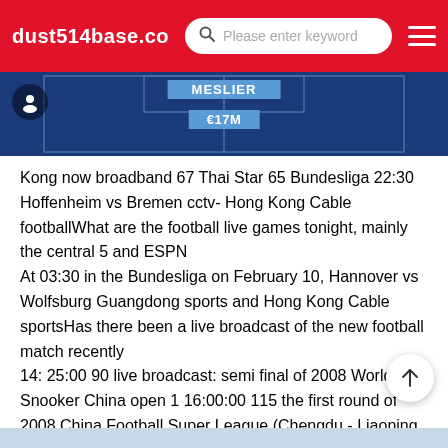dust514base.com — search bar: Please enter keyword
[Figure (screenshot): Football pitch graphic showing MESLIER and €17M labels on a blue background, with a user icon in top left]
Kong now broadband 67 Thai Star 65 Bundesliga 22:30 Hoffenheim vs Bremen cctv- Hong Kong Cable footballWhat are the football live games tonight, mainly the central 5 and ESPN
At 03:30 in the Bundesliga on February 10, Hannover vs Wolfsburg Guangdong sports and Hong Kong Cable sportsHas there been a live broadcast of the new football match recently
14: 25:00 90 live broadcast: semi final of 2008 World Snooker China open 1 16:00:00 115 the first round of 2008 China Football Super League (Chengdu - Liaoning team) 18:00:00 65 sports news 19:10:00 10 Olympic abc:2008 19:25:00 150 live broadcast: 2008